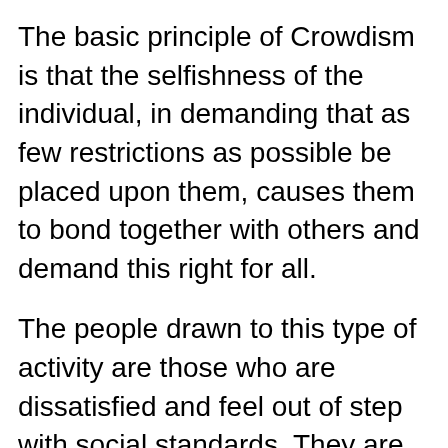The basic principle of Crowdism is that the selfishness of the individual, in demanding that as few restrictions as possible be placed upon them, causes them to bond together with others and demand this right for all.
The people drawn to this type of activity are those who are dissatisfied and feel out of step with social standards. They are not extreme political ideologues, but rather extreme personal activists: they want no oversight of what they do and for society to continue to tolerate them despite their deviation from its values or the values of its